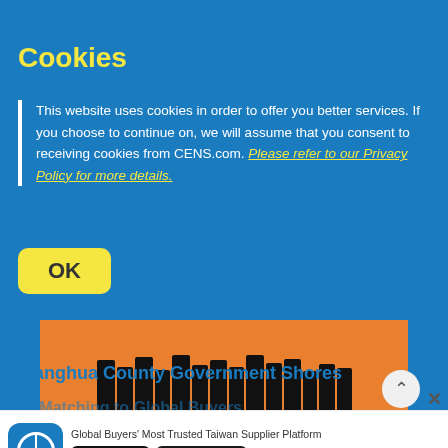CENS
Cookies
This website uses cookies in order to offer you better services. If you choose to continue on, we will assume that you consent to receiving cookies from CENS.com. Please refer to our Privacy Policy for more details.
[Figure (photo): Group of people standing in a row at what appears to be an exhibition or event, with an orange background.]
Changhua County Government Shores
Global Buyers' Most Trusted Taiwan Supplier Platform
[Figure (screenshot): App store download buttons: Download on the App Store and Get it on Google Play]
ers in Changhua County to expand their market reach